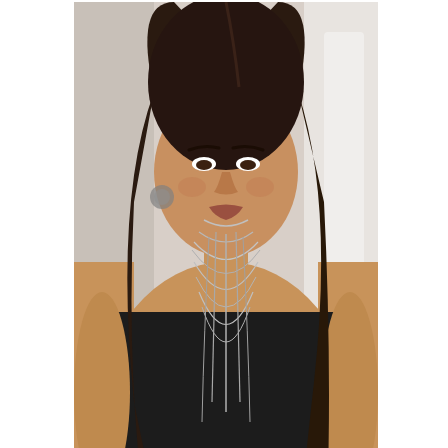[Figure (photo): A woman with long dark hair wearing a black sleeveless top and multiple layered silver chain necklaces, photographed from approximately waist up against a light background.]
Photo: Coolspotters.com
Carrie Ann Inaba's man put a ring on it! The Dancing With the Stars judge got the shock of a lifetime last week when her boyfriend got on bended knee to